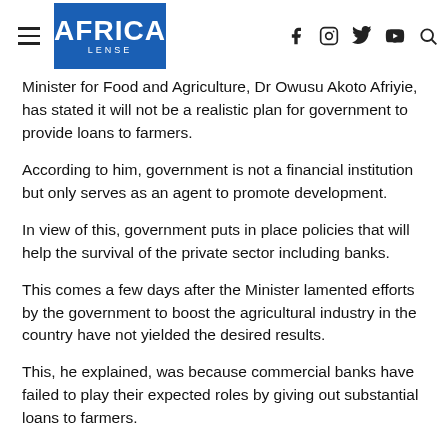AFRICA LENSE
Minister for Food and Agriculture, Dr Owusu Akoto Afriyie, has stated it will not be a realistic plan for government to provide loans to farmers.
According to him, government is not a financial institution but only serves as an agent to promote development.
In view of this, government puts in place policies that will help the survival of the private sector including banks.
This comes a few days after the Minister lamented efforts by the government to boost the agricultural industry in the country have not yielded the desired results.
This, he explained, was because commercial banks have failed to play their expected roles by giving out substantial loans to farmers.